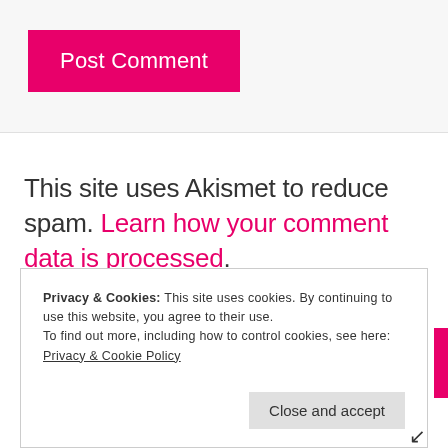[Figure (screenshot): Pink 'Post Comment' button on a light gray background]
This site uses Akismet to reduce spam. Learn how your comment data is processed.
Privacy & Cookies: This site uses cookies. By continuing to use this website, you agree to their use.
To find out more, including how to control cookies, see here: Privacy & Cookie Policy
Close and accept